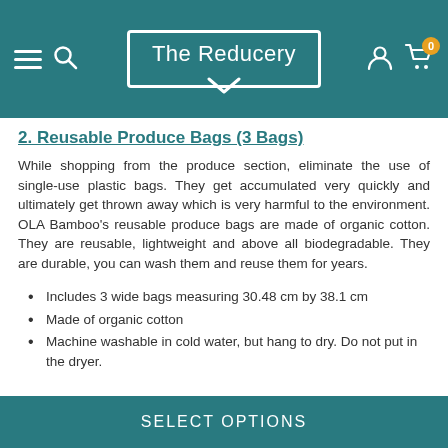The Reducery
2. Reusable Produce Bags (3 Bags)
While shopping from the produce section, eliminate the use of single-use plastic bags. They get accumulated very quickly and ultimately get thrown away which is very harmful to the environment. OLA Bamboo's reusable produce bags are made of organic cotton. They are reusable, lightweight and above all biodegradable. They are durable, you can wash them and reuse them for years.
Includes 3 wide bags measuring 30.48 cm by 38.1 cm
Made of organic cotton
Machine washable in cold water, but hang to dry. Do not put in the dryer.
SELECT OPTIONS